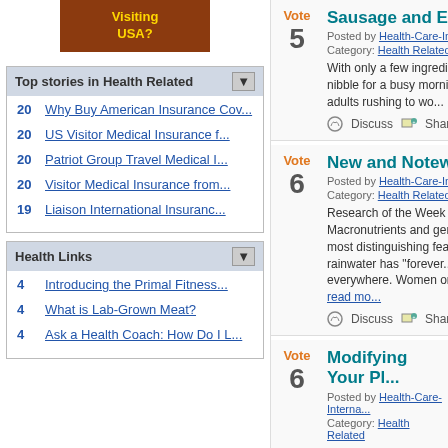[Figure (other): Brown banner with yellow text 'Visiting USA?']
Top stories in Health Related
20  Why Buy American Insurance Cov...
20  US Visitor Medical Insurance f...
20  Patriot Group Travel Medical I...
20  Visitor Medical Insurance from...
19  Liaison International Insuranc...
Health Links
4  Introducing the Primal Fitness...
4  What is Lab-Grown Meat?
4  Ask a Health Coach: How Do I L...
Vote
5
Sausage and Egg
Posted by Health-Care-Interna...
Category: Health Related
With only a few ingredients, go nibble for a busy morning hack for adults rushing to wo...
Discuss  Share  Bury
Vote
6
New and Notewor...
Posted by Health-Care-Interna...
Category: Health Related
Research of the Week Macronutrients and genes in... The most distinguishing feat... Even rainwater has "forever... Placebo is everywhere. Women on vegetari read mo...
Discuss  Share  Bury
Vote
6
Modifying Your Pl...
Posted by Health-Care-Interna...
Category: Health Related
I'm not a vegetarian (althou...